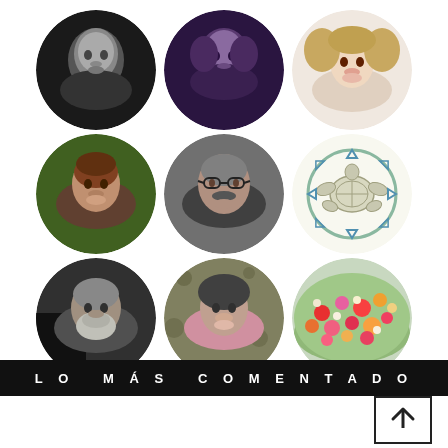[Figure (photo): 3x3 grid of circular avatar photos/illustrations including portraits and a flower field image]
LO MÁS COMENTADO
[Figure (illustration): Upward arrow icon inside a bordered box]